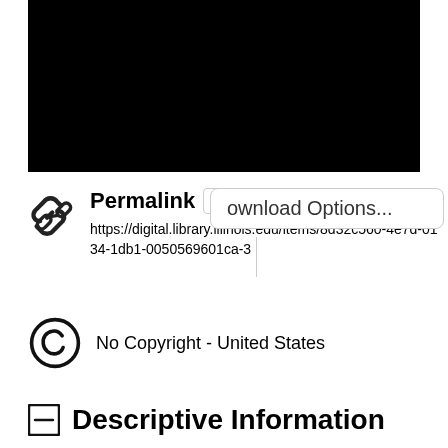[Figure (photo): Black rectangle representing a scanned/redacted document image area]
Permalink  Copy  Download Options...
https://digital.library.illinois.edu/items/8d32c560-4e7d-0134-1db1-0050569601ca-3
No Copyright - United States
Descriptive Information